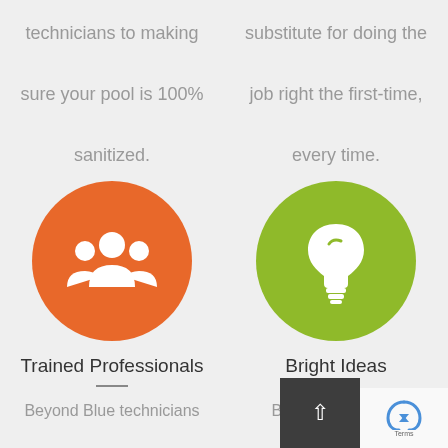technicians to making sure your pool is 100% sanitized.
substitute for doing the job right the first-time, every time.
[Figure (illustration): Orange circle with white group/people icon representing Trained Professionals]
[Figure (illustration): Green circle with white lightbulb icon representing Bright Ideas]
Trained Professionals
Bright Ideas
Beyond Blue technicians receive dozens hours of
Beyond Blue uses cutting-edge technology